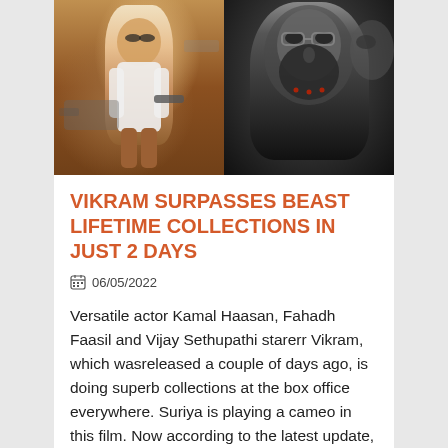[Figure (photo): Two movie promotional images side by side: left shows an action hero in white shirt holding a weapon with a vehicle behind him (colorful/warm tones), right shows a close-up of a bearded man with intense expression (black and white/dark tones)]
VIKRAM SURPASSES BEAST LIFETIME COLLECTIONS IN JUST 2 DAYS
06/05/2022
Versatile actor Kamal Haasan, Fahadh Faasil and Vijay Sethupathi starerr Vikram, which wasreleased a couple of days ago, is doing superb collections at the box office everywhere. Suriya is playing a cameo in this film. Now according to the latest update,